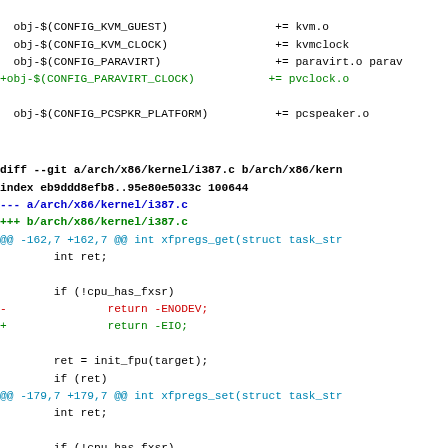obj-$(CONFIG_KVM_GUEST)                += kvm.o
  obj-$(CONFIG_KVM_CLOCK)                += kvmclock
  obj-$(CONFIG_PARAVIRT)                 += paravirt.o parav
+obj-$(CONFIG_PARAVIRT_CLOCK)           += pvclock.o

  obj-$(CONFIG_PCSPKR_PLATFORM)          += pcspeaker.o
diff --git a/arch/x86/kernel/i387.c b/arch/x86/kern
index eb9ddd8efb8..95e80e5033c 100644
--- a/arch/x86/kernel/i387.c
+++ b/arch/x86/kernel/i387.c
@@ -162,7 +162,7 @@ int xfpregs_get(struct task_str
        int ret;

        if (!cpu_has_fxsr)
-                return -ENODEV;
+                return -EIO;

        ret = init_fpu(target);
        if (ret)
@@ -179,7 +179,7 @@ int xfpregs_set(struct task_str
        int ret;

        if (!cpu_has_fxsr)
-                return -ENODEV;
+                return -EIO;

        ret = init_fpu(target);
        if (ret)